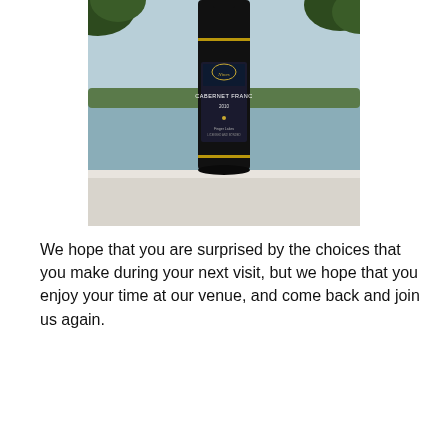[Figure (photo): A dark wine bottle labeled 'Cabernet Franc 2010' with Finger Lakes appellation, set on a white table with a water body and green trees in the background under a light blue sky.]
We hope that you are surprised by the choices that you make during your next visit, but we hope that you enjoy your time at our venue, and come back and join us again.